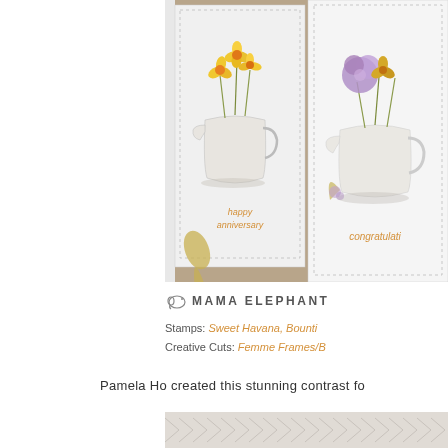[Figure (photo): Two greeting cards displayed side by side on a tan/beige surface. Left card shows a white pitcher vase with yellow daffodils and text 'happy anniversary' in golden script. Right card shows a white pitcher with yellow daffodils and purple lilacs with text 'congratulations' in golden script. Both cards have decorative stitched borders.]
MAMA ELEPHANT
Stamps: Sweet Havana, Bounti...
Creative Cuts: Femme Frames/B...
Pamela Ho created this stunning contrast fo...
[Figure (illustration): Herringbone/chevron pattern in light gray and white at the bottom of the page]